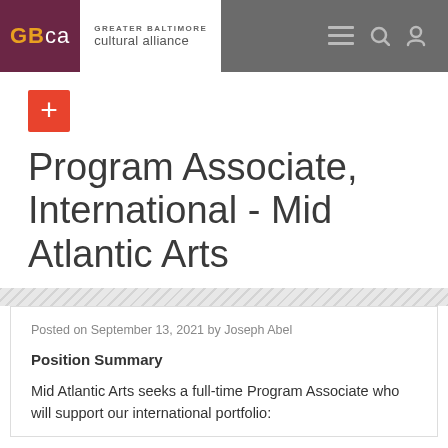GBCA Greater Baltimore Cultural Alliance
[Figure (logo): Red plus sign button icon]
Program Associate, International - Mid Atlantic Arts
Posted on September 13, 2021 by Joseph Abel
Position Summary
Mid Atlantic Arts seeks a full-time Program Associate who will support our international portfolio: